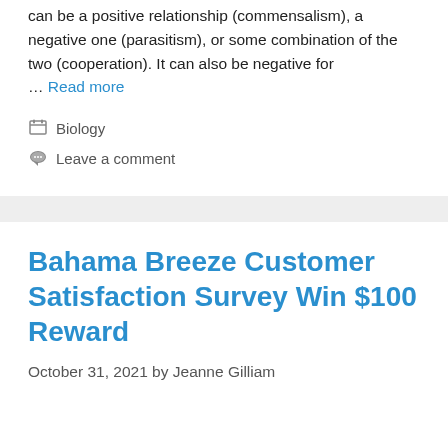can be a positive relationship (commensalism), a negative one (parasitism), or some combination of the two (cooperation). It can also be negative for
… Read more
Biology
Leave a comment
Bahama Breeze Customer Satisfaction Survey Win $100 Reward
October 31, 2021 by Jeanne Gilliam